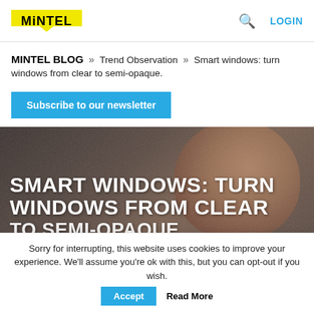MINTEL  LOGIN
MINTEL BLOG » Trend Observation » Smart windows: turn windows from clear to semi-opaque.
Subscribe to our newsletter
[Figure (photo): Dark background hero image of a person's face, partially visible, with large white bold text overlay reading 'SMART WINDOWS: TURN WINDOWS FROM CLEAR TO SEMI-OPAQUE']
Sorry for interrupting, this website uses cookies to improve your experience. We'll assume you're ok with this, but you can opt-out if you wish. Accept  Read More